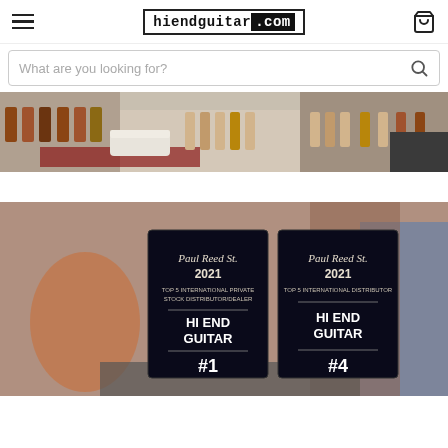hiendguitar.com — navigation header with hamburger menu and cart icon
What are you looking for?
[Figure (photo): Interior panoramic photo of a guitar store showroom with many acoustic and electric guitars displayed on walls and stands, and a white sofa in the center]
[Figure (photo): Two Paul Reed Smith (PRS) awards plaques for 2021: left plaque reads '#1 TOP 5 INTERNATIONAL PRIVATE STOCK DISTRIBUTOR/DEALER HI END GUITAR #1', right plaque reads '#4 TOP 5 INTERNATIONAL DISTRIBUTOR HI END GUITAR #4']